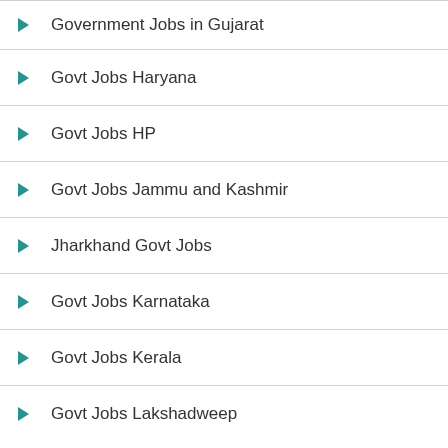Government Jobs in Gujarat
Govt Jobs Haryana
Govt Jobs HP
Govt Jobs Jammu and Kashmir
Jharkhand Govt Jobs
Govt Jobs Karnataka
Govt Jobs Kerala
Govt Jobs Lakshadweep